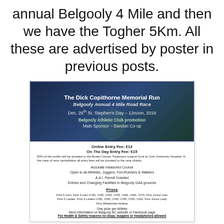annual Belgooly 4 Mile and then we have the Togher 5Km. All these are advertised by poster in previous posts.
[Figure (other): Flyer for The Dick Copithorne Memorial Run, Belgooly Annual 4 Mile Road Race. Dec. 26th St. Stephen's Day – 12noon, 2019. Belgooly Athletic Club promotion. Main Sponsor – Bandon Co-op. Online Entry Fee: €12. On The Day Entry Fee: €15. 50% of the profits will be donated to the Bowel Cancer Treatment support fund at Cork University Hospital. In the case of race cancellation all entry fees will be donated to the race charity. Accurate measured Course. Open to all Athletes, Joggers, Fun-Runners & Walkers. A.A.I. Permit Granted. Entries and Changing Facilities in Belgooly GAA grounds. Prizes section. First 5 men, First 3 men O/40, O/45, O/50, O/55, O/60, O/65, O/70, First Junior man. First 5 Ladies, First 3 Ladies O/35, O/40, O/45, O/50, O/55, O/60, First Junior Lady. First Wheelchair Athlete. One prize per Athlete. More information on Belgooly AC website or Facebook page. For Health & Safety reasons no dogs, buggies or headphones allowed.]